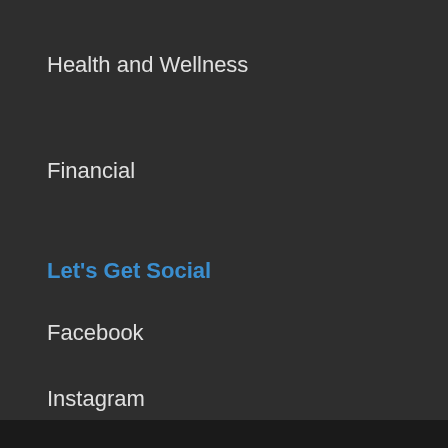Health and Wellness
Financial
Let's Get Social
Facebook
Instagram
Pinterest